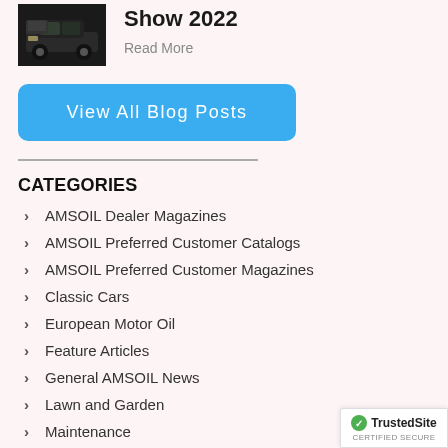[Figure (photo): Black muscle car with hood open, thumbnail image]
Show 2022
Read More
View All Blog Posts
CATEGORIES
AMSOIL Dealer Magazines
AMSOIL Preferred Customer Catalogs
AMSOIL Preferred Customer Magazines
Classic Cars
European Motor Oil
Feature Articles
General AMSOIL News
Lawn and Garden
Maintenance